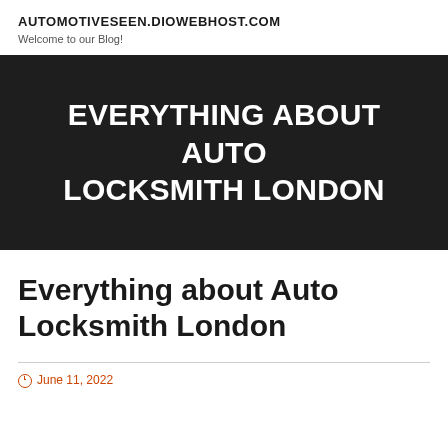AUTOMOTIVESEEN.DIOWEBHOST.COM
Welcome to our Blog!
[Figure (illustration): Dark banner with white bold uppercase text: EVERYTHING ABOUT AUTO LOCKSMITH LONDON]
Everything about Auto Locksmith London
June 11, 2022